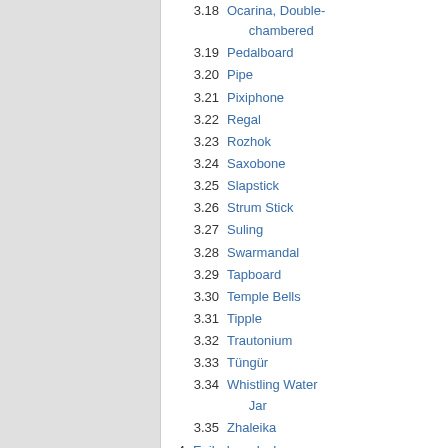3.18 Ocarina, Double-chambered
3.19 Pedalboard
3.20 Pipe
3.21 Pixiphone
3.22 Regal
3.23 Rozhok
3.24 Saxobone
3.25 Slapstick
3.26 Strum Stick
3.27 Suling
3.28 Swarmandal
3.29 Tapboard
3.30 Temple Bells
3.31 Tipple
3.32 Trautonium
3.33 Tüngür
3.34 Whistling Water Jar
3.35 Zhaleika
4 Failed, and why
4.1 Indian Strings
4.2 Tabla
4.3 Guitar synthesizer